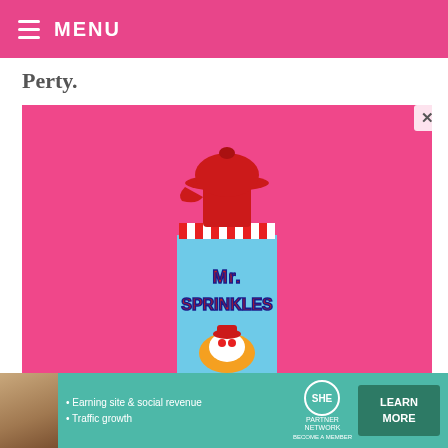≡ MENU
Perty.
[Figure (photo): A bottle labeled 'Mr. Sprinkles' with a red baseball cap-shaped top, against a bright pink/hot pink background. The bottle is light blue with red and white striped collar and features a cartoon character.]
[Figure (photo): Advertisement banner for SHE Partner Network with text 'Earning site & social revenue', 'Traffic growth', 'LEARN MORE' button.]